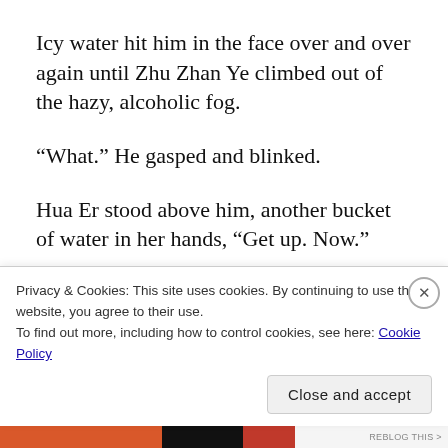Icy water hit him in the face over and over again until Zhu Zhan Ye climbed out of the hazy, alcoholic fog.
“What.” He gasped and blinked.
Hua Er stood above him, another bucket of water in her hands, “Get up. Now.”
The bucket tipped and the water him face like glass shards. Zhu Zhan Ye shivered and got up. He blinked
Privacy & Cookies: This site uses cookies. By continuing to use this website, you agree to their use.
To find out more, including how to control cookies, see here: Cookie Policy
Close and accept